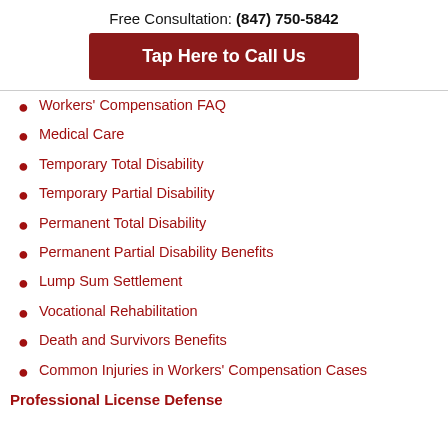Free Consultation: (847) 750-5842
Tap Here to Call Us
Workers' Compensation FAQ
Medical Care
Temporary Total Disability
Temporary Partial Disability
Permanent Total Disability
Permanent Partial Disability Benefits
Lump Sum Settlement
Vocational Rehabilitation
Death and Survivors Benefits
Common Injuries in Workers' Compensation Cases
Professional License Defense